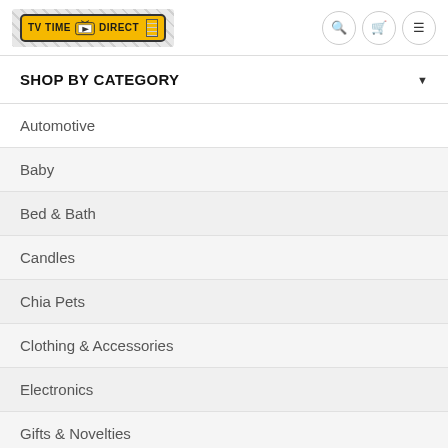TV TIME DIRECT
SHOP BY CATEGORY
Automotive
Baby
Bed & Bath
Candles
Chia Pets
Clothing & Accessories
Electronics
Gifts & Novelties
Health & Beauty